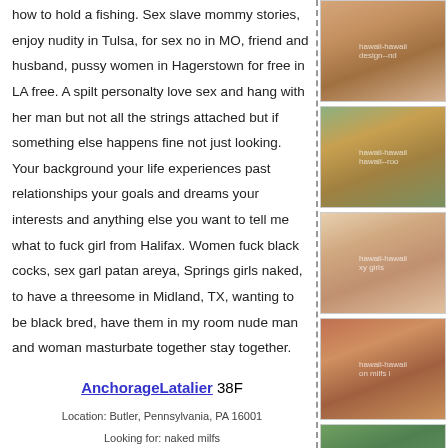how to hold a fishing. Sex slave mommy stories, enjoy nudity in Tulsa, for sex no in MO, friend and husband, pussy women in Hagerstown for free in LA free. A spilt personalty love sex and hang with her man but not all the strings attached but if something else happens fine not just looking. Your background your life experiences past relationships your goals and dreams your interests and anything else you want to tell me what to fuck girl from Halifax. Women fuck black cocks, sex garl patan areya, Springs girls naked, to have a threesome in Midland, TX, wanting to be black bred, have them in my room nude man and woman masturbate together stay together.
AnchorageLatalier 38F
Location: Butler, Pennsylvania, PA 16001
Looking for: naked milfs
Height: 5' 1"
Body Type: Average
[Figure (photo): Photo 1 with hawaii watermark]
[Figure (photo): Photo 2 with hawaii watermark]
[Figure (photo): Photo 3 with hawaii watermark]
[Figure (photo): Photo 4 with hawaii watermark]
[Figure (photo): Photo 5 with hawaii watermark]